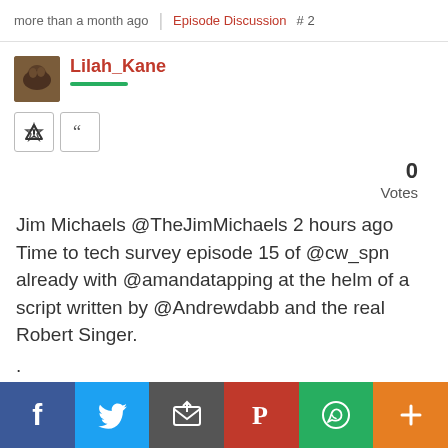more than a month ago | Episode Discussion # 2
Lilah_Kane
0
Votes
Jim Michaels @TheJimMichaels 2 hours ago
Time to tech survey episode 15 of @cw_spn already with @amandatapping at the helm of a script written by @Andrewdabb and the real Robert Singer.
.